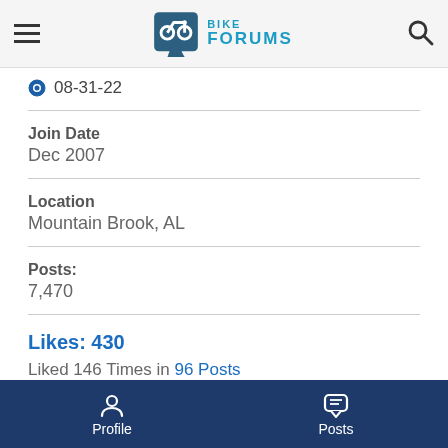Bike Forums
08-31-22
Join Date
Dec 2007
Location
Mountain Brook, AL
Posts:
7,470
Likes: 430
Liked 146 Times in 96 Posts
Profile  Posts